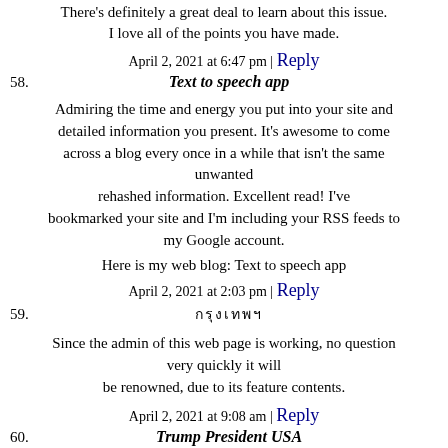There's definitely a great deal to learn about this issue. I love all of the points you have made.
April 2, 2021 at 6:47 pm | Reply
58. Text to speech app
Admiring the time and energy you put into your site and detailed information you present. It's awesome to come across a blog every once in a while that isn't the same unwanted rehashed information. Excellent read! I've bookmarked your site and I'm including your RSS feeds to my Google account.
Here is my web blog: Text to speech app
April 2, 2021 at 2:03 pm | Reply
59. กรุงเทพฯ
Since the admin of this web page is working, no question very quickly it will be renowned, due to its feature contents.
April 2, 2021 at 9:08 am | Reply
60. Trump President USA